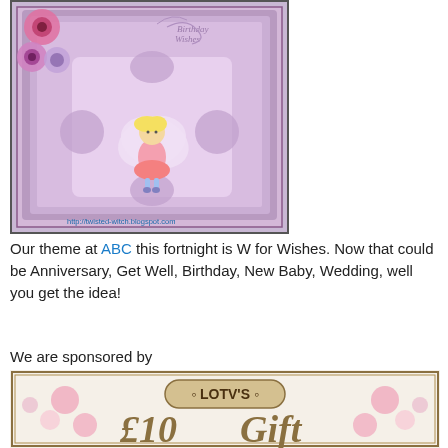[Figure (photo): A handmade birthday/wishes craft card with purple and pink decorations, flowers, lace, and a fairy character. URL watermark: http://twisted-witch.blogspot.com]
Our theme at ABC this fortnight is W for Wishes. Now that could be Anniversary, Get Well, Birthday, New Baby, Wedding, well you get the idea!
We are sponsored by
[Figure (photo): LOTV's £10 Gift voucher banner with floral decorations]